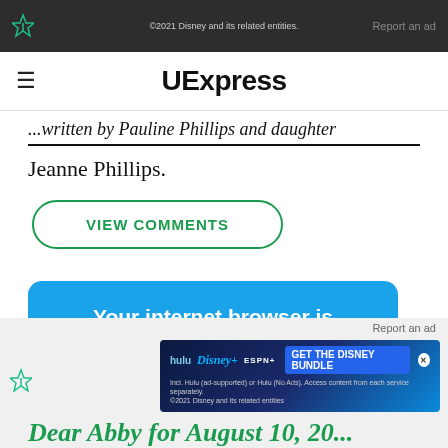©2021 Disney and its related entities. Report an ad
UExpress
...written by Pauline Phillips and daughter Jeanne Phillips.
VIEW COMMENTS
Your internet browser is no longer supported.
To get the best experience on our site, we reco... latest v...
Dear Abby for August 10, 20...